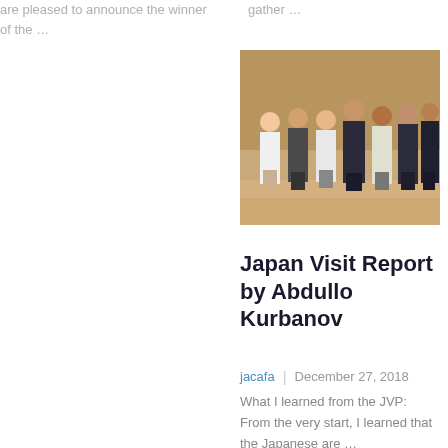are pleased to announce the winner of the …
gather …
[Figure (photo): Group photo of seven people standing in a row indoors, against a warm wooden wall background. Mixed formal and casual attire.]
Japan Visit Report by Abdullo Kurbanov
jacafa  |  December 27, 2018
What I learned from the JVP: From the very start, I learned that the Japanese are …